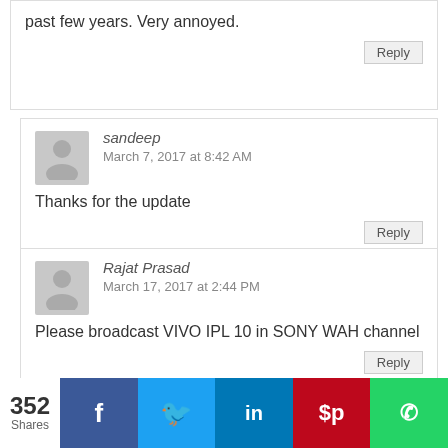past few years. Very annoyed.
Reply
sandeep
March 7, 2017 at 8:42 AM
Thanks for the update
Reply
Rajat Prasad
March 17, 2017 at 2:44 PM
Please broadcast VIVO IPL 10 in SONY WAH channel
Reply
ishaq
March 21, 2017 at 2:11 AM
352 Shares